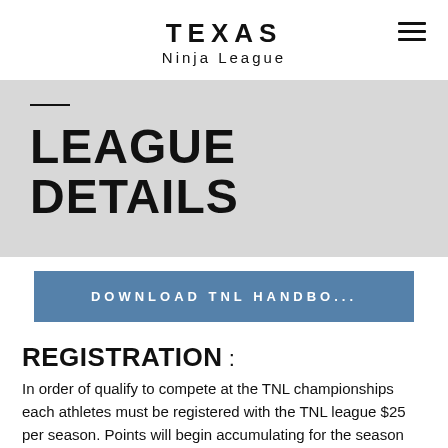TEXAS Ninja League
LEAGUE DETAILS
DOWNLOAD TNL HANDBO...
REGISTRATION :
In order of qualify to compete at the TNL championships each athletes must be registered with the TNL league $25 per season. Points will begin accumulating for the season AFTER the athlete has registered. You will NOT be able to get